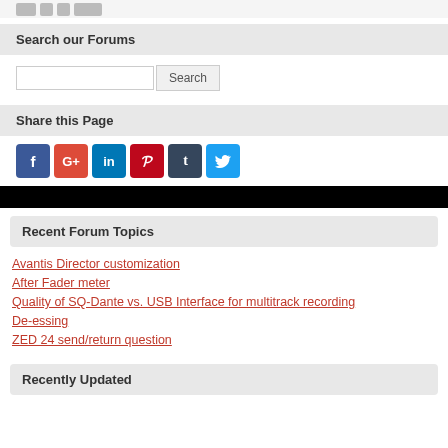[Figure (logo): Partial logo/image at top of page]
Search our Forums
[Figure (screenshot): Search input box with Search button]
Share this Page
[Figure (infographic): Social media share icons: Facebook, Google+, LinkedIn, Pinterest, Tumblr, Twitter]
Recent Forum Topics
Avantis Director customization
After Fader meter
Quality of SQ-Dante vs. USB Interface for multitrack recording
De-essing
ZED 24 send/return question
Recently Updated